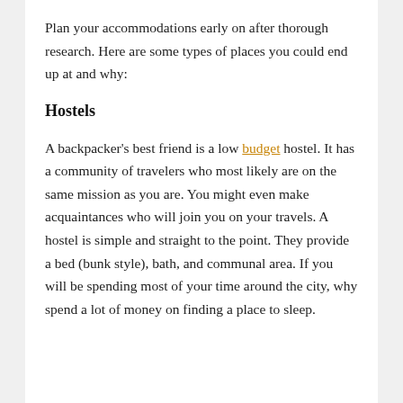Plan your accommodations early on after thorough research. Here are some types of places you could end up at and why:
Hostels
A backpacker's best friend is a low budget hostel. It has a community of travelers who most likely are on the same mission as you are. You might even make acquaintances who will join you on your travels. A hostel is simple and straight to the point. They provide a bed (bunk style), bath, and communal area. If you will be spending most of your time around the city, why spend a lot of money on finding a place to sleep.